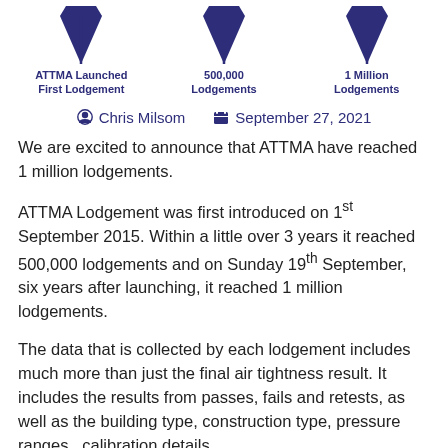[Figure (infographic): Three milestone markers (inverted triangle/pin icons) for ATTMA milestones: 'ATTMA Launched First Lodgement', '500,000 Lodgements', and '1 Million Lodgements', displayed in dark blue.]
Chris Milsom   September 27, 2021
We are excited to announce that ATTMA have reached 1 million lodgements.
ATTMA Lodgement was first introduced on 1st September 2015. Within a little over 3 years it reached 500,000 lodgements and on Sunday 19th September, six years after launching, it reached 1 million lodgements.
The data that is collected by each lodgement includes much more than just the final air tightness result. It includes the results from passes, fails and retests, as well as the building type, construction type, pressure ranges , calibration details,